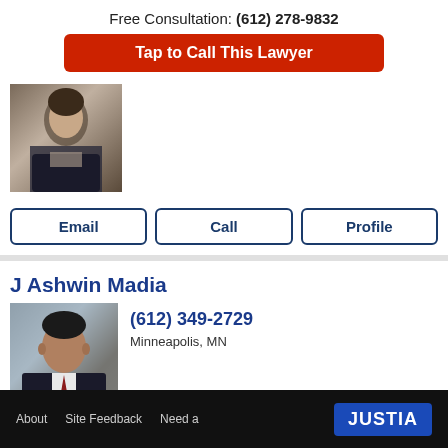Free Consultation: (612) 278-9832
Tap to Call This Lawyer
[Figure (photo): Professional headshot of a woman in a dark blazer]
Email
Call
Profile
J Ashwin Madia
[Figure (photo): Professional headshot of J Ashwin Madia in a dark suit with red tie]
(612) 349-2729
Minneapolis, MN
Email
Call
Profile
About   Site Feedback   Need a   JUSTIA